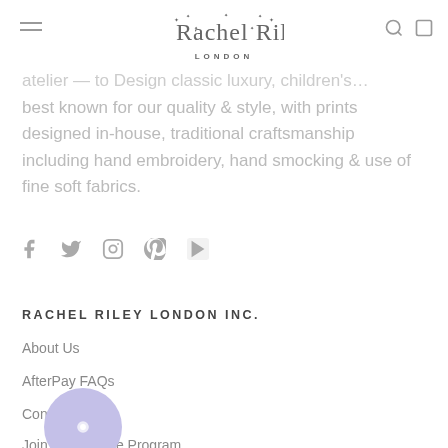Rachel Riley London
best known for our quality & style, with prints designed in-house, traditional craftsmanship including hand embroidery, hand smocking & use of fine soft fabrics.
[Figure (infographic): Social media icons: Facebook, Twitter, Instagram, Pinterest, YouTube]
RACHEL RILEY LONDON INC.
About Us
AfterPay FAQs
Contact Us
Join Our Affiliate Program